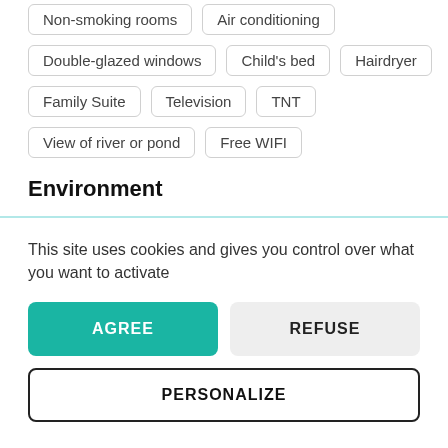Non-smoking rooms
Air conditioning
Double-glazed windows
Child's bed
Hairdryer
Family Suite
Television
TNT
View of river or pond
Free WIFI
Environment
This site uses cookies and gives you control over what you want to activate
AGREE
REFUSE
PERSONALIZE